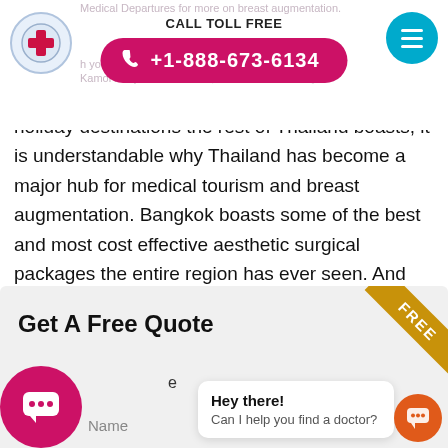CALL TOLL FREE +1-888-673-6134
holiday destinations the rest of Thailand boasts, it is understandable why Thailand has become a major hub for medical tourism and breast augmentation. Bangkok boasts some of the best and most cost effective aesthetic surgical packages the entire region has ever seen. And remember, Bangkok is merely a short flight away.
Get A Free Quote
Hey there! Can I help you find a doctor?